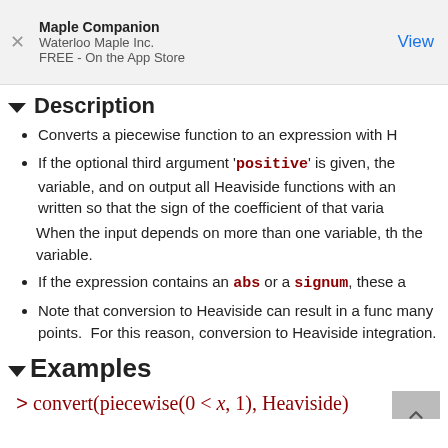Maple Companion
Waterloo Maple Inc.
FREE - On the App Store
View
▼ Description
Converts a piecewise function to an expression with H
If the optional third argument 'positive' is given, the variable, and on output all Heaviside functions with an written so that the sign of the coefficient of that varia
When the input depends on more than one variable, th the variable.
If the expression contains an abs or a signum, these a
Note that conversion to Heaviside can result in a func many points.  For this reason, conversion to Heaviside integration.
▼Examples
> convert(piecewise(0 < x, 1), Heaviside)